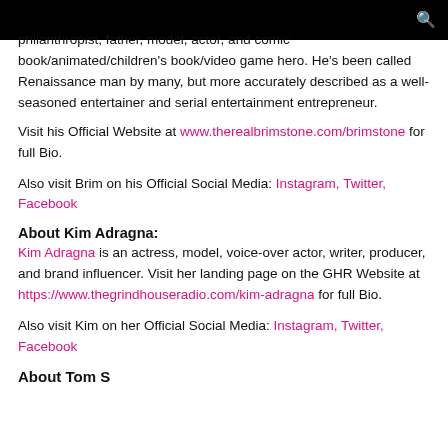philanthropist, father, model, actor, and comic book/animated/children's book/video game hero. He's been called Renaissance man by many, but more accurately described as a well-seasoned entertainer and serial entertainment entrepreneur.
Visit his Official Website at www.therealbrimstone.com/brimstone for full Bio.
Also visit Brim on his Official Social Media: Instagram, Twitter, Facebook
About Kim Adragna:
Kim Adragna is an actress, model, voice-over actor, writer, producer, and brand influencer. Visit her landing page on the GHR Website at https://www.thegrindhouseradio.com/kim-adragna for full Bio.
Also visit Kim on her Official Social Media: Instagram, Twitter, Facebook
About Tom S...